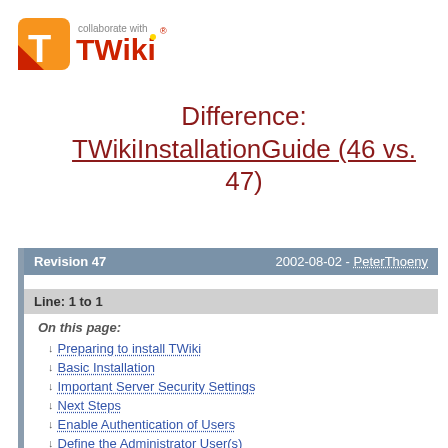[Figure (logo): TWiki logo with orange T icon and 'collaborate with TWiki' text]
Difference: TWikiInstallationGuide (46 vs. 47)
| Revision 47 | 2002-08-02 - PeterThoeny |
| --- | --- |
Line: 1 to 1
On this page:
Preparing to install TWiki
Basic Installation
Important Server Security Settings
Next Steps
Enable Authentication of Users
Define the Administrator User(s)
Set TWiki Preferences
Enable Email Notification